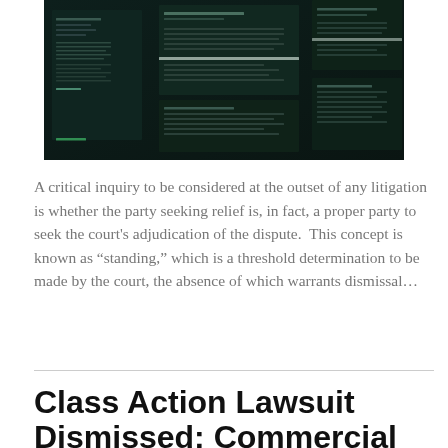[Figure (photo): Dark terminal/code screens showing text data, multiple monitors or windows layered, dark teal/black color scheme with faint green and white text visible]
A critical inquiry to be considered at the outset of any litigation is whether the party seeking relief is, in fact, a proper party to seek the court's adjudication of the dispute.  This concept is known as "standing," which is a threshold determination to be made by the court, the absence of which warrants dismissal…
Class Action Lawsuit Dismissed: Commercial